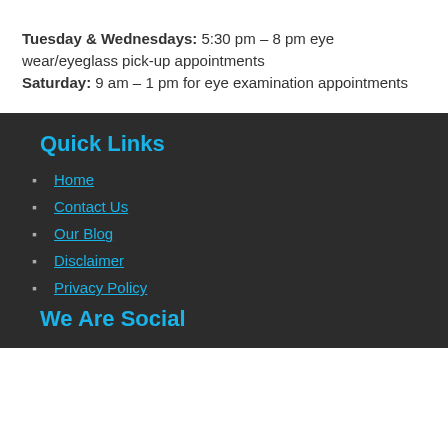Tuesday & Wednesdays: 5:30 pm – 8 pm eye wear/eyeglass pick-up appointments
Saturday: 9 am – 1 pm for eye examination appointments
Quick Links
Home
Contact Us
Our Blog
Disclaimer
Privacy Policy
We Are Social